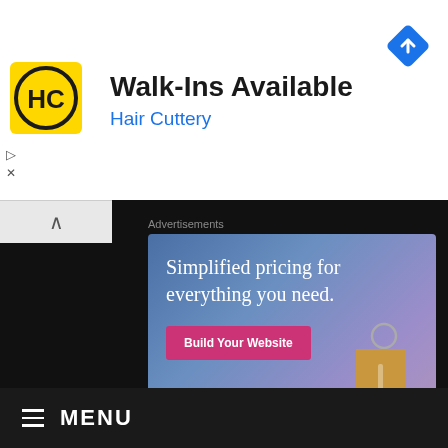[Figure (logo): Hair Cuttery yellow and black logo with HC letters]
Walk-Ins Available
Hair Cuttery
[Figure (infographic): Blue diamond navigation/directions icon]
Advertisements
[Figure (screenshot): WordPress.com advertisement: Simplified pricing for everything you need. Build Your Website button. Price tag illustration on gradient blue-purple-pink background.]
REPORT THIS AD
MENU